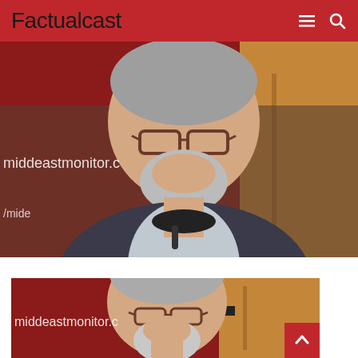Factualcast
[Figure (photo): A man with gray hair, beard, and glasses wearing a dark blazer sitting at a podium/table. Background is dark red with text 'middeastmonitor.c' visible. Wooden panel visible on right.]
[Figure (photo): Same man with gray hair, beard, and glasses, cropped photo showing head and upper shoulders. Same dark red background with 'middeastmonitor.c' text visible. A red scroll-to-top button is overlaid in the bottom right corner.]